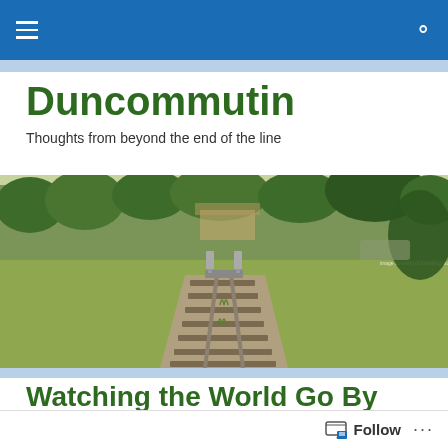Duncommutin - navigation bar with hamburger menu and search icon
Duncommutin
Thoughts from beyond the end of the line
[Figure (photo): Photograph of an abandoned railway track ending at a buffer stop in a grassy field with trees in the background. Small text in upper right reads 'image courtesy of travelling-stopphotoblog']
Watching the World Go By
Commuting days until retirement: 221
Follow ...